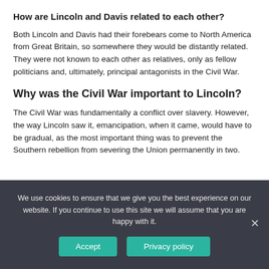How are Lincoln and Davis related to each other?
Both Lincoln and Davis had their forebears come to North America from Great Britain, so somewhere they would be distantly related. They were not known to each other as relatives, only as fellow politicians and, ultimately, principal antagonists in the Civil War.
Why was the Civil War important to Lincoln?
The Civil War was fundamentally a conflict over slavery. However, the way Lincoln saw it, emancipation, when it came, would have to be gradual, as the most important thing was to prevent the Southern rebellion from severing the Union permanently in two.
We use cookies to ensure that we give you the best experience on our website. If you continue to use this site we will assume that you are happy with it.